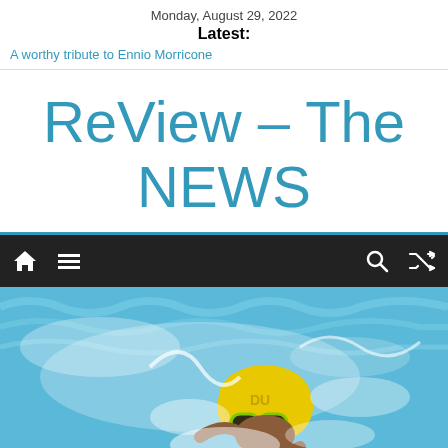Monday, August 29, 2022
Latest:
A worthy tribute to Ennio Morricone
ReView – The NEWS
[Figure (other): Navigation bar with home icon, hamburger menu icon, search icon, and shuffle icon on dark background]
[Figure (photo): Swimmer in a yellow cap labeled 'DU' and neon green goggles, swimming in a blue pool with splashing water]